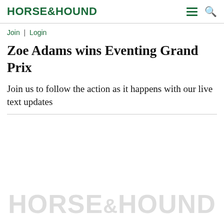HORSE&HOUND
Join | Login
Zoe Adams wins Eventing Grand Prix
Join us to follow the action as it happens with our live text updates
[Figure (logo): Watermark of Horse & Hound logo in light grey at the bottom of the page]